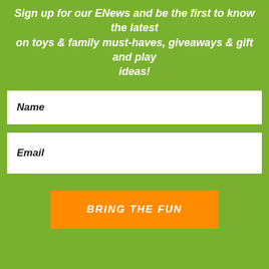Sign up for our ENews and be the first to know the latest on toys & family must-haves, giveaways & gift and play ideas!
Name
Email
BRING THE FUN